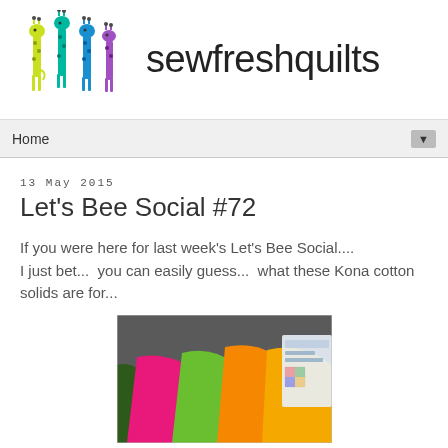sewfreshquilts
Home
13 May 2015
Let's Bee Social #72
If you were here for last week's Let's Bee Social.... I just bet...  you can easily guess...  what these Kona cotton solids are for...
[Figure (photo): Colorful stacked Kona cotton solid fabric pieces in pink, green, orange and other colors with a small card/pattern visible on the right side]